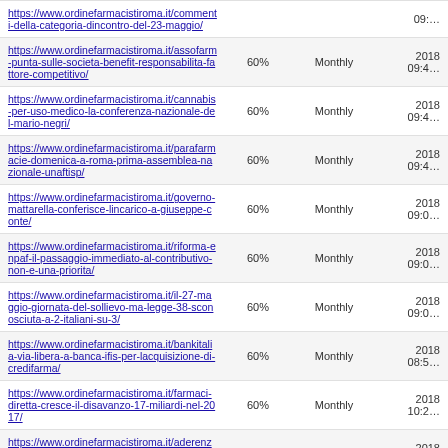| URL | Priority | Change Frequency | Last Modified |
| --- | --- | --- | --- |
| https://www.ordinefarmacistiroma.it/commenti-della-categoria-dincontro-del-23-maggio/ | 60% | Monthly | 09:… |
| https://www.ordinefarmacistiroma.it/assofarm-punta-sulle-societa-benefit-responsabilita-fattore-competitivo/ | 60% | Monthly | 2018 09:4… |
| https://www.ordinefarmacistiroma.it/cannabis-per-uso-medico-la-conferenza-nazionale-del-mario-negri/ | 60% | Monthly | 2018 09:4… |
| https://www.ordinefarmacistiroma.it/parafarmacie-domenica-a-roma-prima-assemblea-nazionale-unaftisp/ | 60% | Monthly | 2018 09:4… |
| https://www.ordinefarmacistiroma.it/governo-mattarella-conferisce-lincarico-a-giuseppe-conte/ | 60% | Monthly | 2018 09:0… |
| https://www.ordinefarmacistiroma.it/riforma-enpaf-il-passaggio-immediato-al-contributivo-non-e-una-priorita/ | 60% | Monthly | 2018 09:0… |
| https://www.ordinefarmacistiroma.it/il-27-maggio-giornata-del-sollievo-ma-legge-38-sconosciuta-a-2-italiani-su-3/ | 60% | Monthly | 2018 09:0… |
| https://www.ordinefarmacistiroma.it/bankitalia-via-libera-a-banca-ifis-per-lacquisizione-di-credifarma/ | 60% | Monthly | 2018 08:5… |
| https://www.ordinefarmacistiroma.it/farmaci-diretta-cresce-il-disavanzo-17-miliardi-nel-2017/ | 60% | Monthly | 2018 10:2… |
| https://www.ordinefarmacistiroma.it/aderenza-terapeutica-parte-in-piemonte-progetto-sullasma/ | 60% | Monthly | 2018 10:2… |
| https://www.ordinefarmacistiroma.it/saitta-regioni-su-sanita-chiederemo-di-riaprire-confronto-con-governo/ | 60% | Monthly | 2018 10:1… |
| https://www.ordinefarmacistiroma.it/pressione-una-persona-su-tre-ha-valori-alti-ma-non-lo-sa/ | 60% | Monthly | 2018 10:1… |